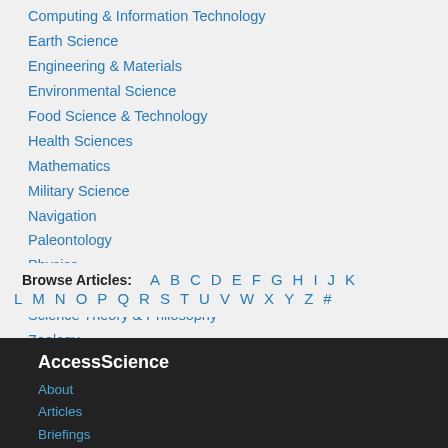Computing & Information Technology
Earth Science
Engineering & Materials
Environmental Science
Food Science & Technology
Health Sciences
Mathematics
Military Science
Navigation
Paleontology
Physics
Psychiatry & Psychology
Science Theory & Philosophy
Zoology
Browse Articles: A B C D E F G H I J K L M N O P Q R S T U V W X Y Z #
AccessScience
About
Articles
Briefings
Biographies